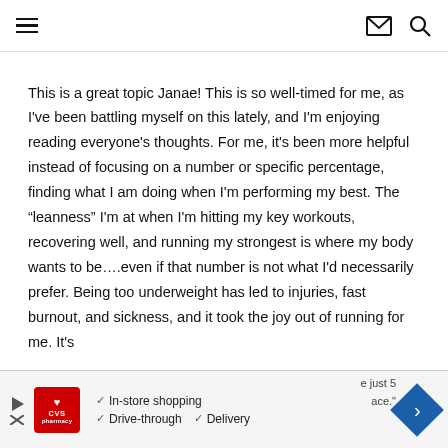Navigation header with hamburger menu, email icon, and search icon
This is a great topic Janae! This is so well-timed for me, as I've been battling myself on this lately, and I'm enjoying reading everyone's thoughts. For me, it's been more helpful instead of focusing on a number or specific percentage, finding what I am doing when I'm performing my best. The “leanness” I'm at when I'm hitting my key workouts, recovering well, and running my strongest is where my body wants to be....even if that number is not what I'd necessarily prefer. Being too underweight has led to injuries, fast burnout, and sickness, and it took the joy out of running for me. It's
[Figure (other): CVS Pharmacy advertisement banner showing In-store shopping, Drive-through, and Delivery options with navigation arrow icon]